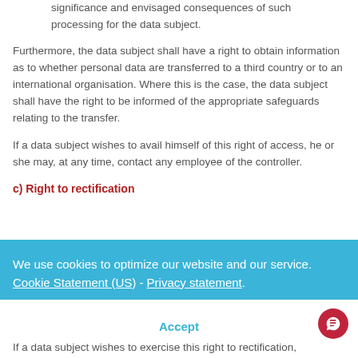significance and envisaged consequences of such processing for the data subject.
Furthermore, the data subject shall have a right to obtain information as to whether personal data are transferred to a third country or to an international organisation. Where this is the case, the data subject shall have the right to be informed of the appropriate safeguards relating to the transfer.
If a data subject wishes to avail himself of this right of access, he or she may, at any time, contact any employee of the controller.
c) Right to rectification
We use cookies to optimize our website and our service.  Cookie Statement (US)  -  Privacy statement
Accept
If a data subject wishes to exercise this right to rectification,